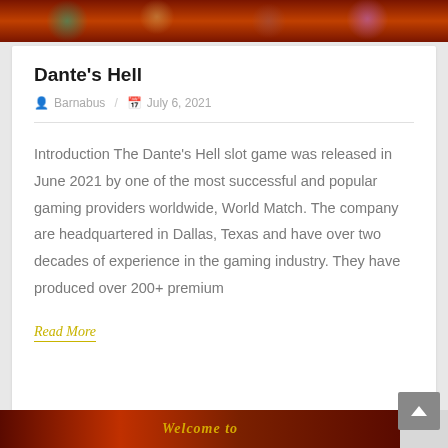[Figure (photo): Top banner image with fantasy/gaming themed characters including a skeleton and other colorful figures against a dark red background]
Dante's Hell
Barnabus / July 6, 2021
Introduction The Dante's Hell slot game was released in June 2021 by one of the most successful and popular gaming providers worldwide, World Match. The company are headquartered in Dallas, Texas and have over two decades of experience in the gaming industry. They have produced over 200+ premium
Read More
[Figure (photo): Bottom banner peek showing a fiery gaming themed graphic with stylized text 'Welcome to Hell' or similar]